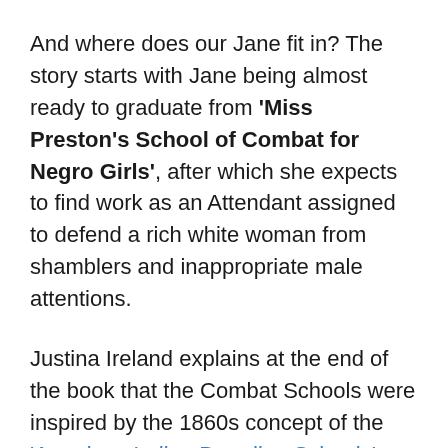And where does our Jane fit in? The story starts with Jane being almost ready to graduate from 'Miss Preston's School of Combat for Negro Girls', after which she expects to find work as an Attendant assigned to defend a rich white woman from shamblers and inappropriate male attentions.
Justina Ireland explains at the end of the book that the Combat Schools were inspired by the 1860s concept of the 'American Indian Boarding Schools', which forcibly removed Native American children from their home and sent them to be 'civilised' in boarding schools that were designed to destroy their cultural identity by cutting off their hair, taking their clothes away from, forbidding them to speak anything but English and denying them contact with their families. In Ireland's alternate timeline, Congress